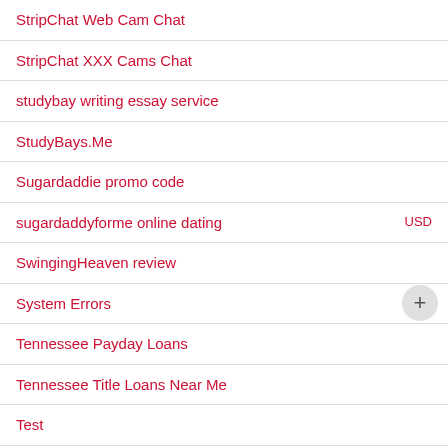StripChat Web Cam Chat
StripChat XXX Cams Chat
studybay writing essay service
StudyBays.Me
Sugardaddie promo code
sugardaddyforme online dating
SwingingHeaven review
System Errors
Tennessee Payday Loans
Tennessee Title Loans Near Me
Test
TgPersonal search